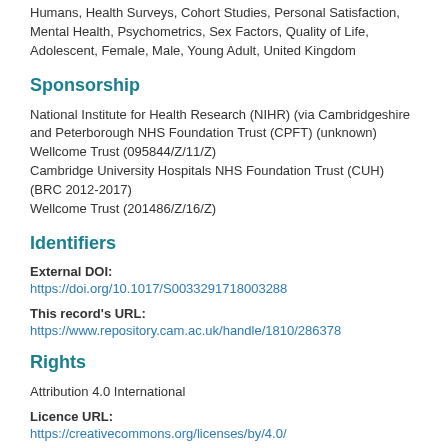Humans, Health Surveys, Cohort Studies, Personal Satisfaction, Mental Health, Psychometrics, Sex Factors, Quality of Life, Adolescent, Female, Male, Young Adult, United Kingdom
Sponsorship
National Institute for Health Research (NIHR) (via Cambridgeshire and Peterborough NHS Foundation Trust (CPFT) (unknown)
Wellcome Trust (095844/Z/11/Z)
Cambridge University Hospitals NHS Foundation Trust (CUH) (BRC 2012-2017)
Wellcome Trust (201486/Z/16/Z)
Identifiers
External DOI:
https://doi.org/10.1017/S0033291718003288
This record's URL:
https://www.repository.cam.ac.uk/handle/1810/286378
Rights
Attribution 4.0 International
Licence URL:
https://creativecommons.org/licenses/by/4.0/